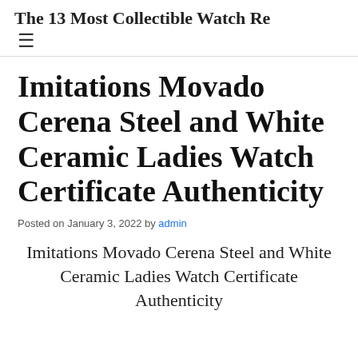The 13 Most Collectible Watch Re
Imitations Movado Cerena Steel and White Ceramic Ladies Watch Certificate Authenticity
Posted on January 3, 2022 by admin
Imitations Movado Cerena Steel and White Ceramic Ladies Watch Certificate Authenticity